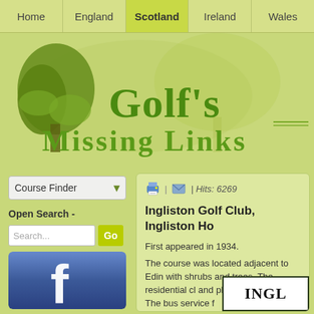Home | England | Scotland | Ireland | Wales
[Figure (logo): Golf's Missing Links website logo with illustrated tree and green text]
Course Finder
Open Search -
Search...
[Figure (photo): Facebook social media icon/button]
| Hits: 6269
Ingliston Golf Club, Ingliston Ho
First appeared in 1934.
The course was located adjacent to Edin with shrubs and trees. The residential cl and plain or high teas. The bus service f
[Figure (other): INGL text logo box at bottom right]